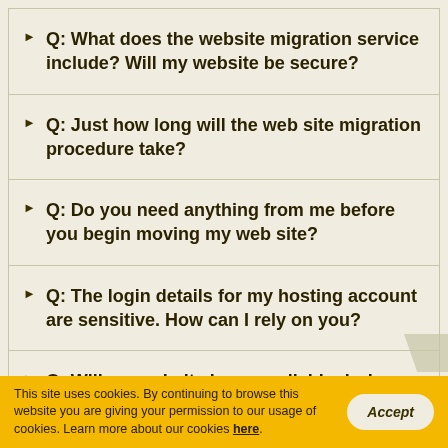Q: What does the website migration service include? Will my website be secure?
Q: Just how long will the web site migration procedure take?
Q: Do you need anything from me before you begin moving my web site?
Q: The login details for my hosting account are sensitive. How can I rely on you?
Q: Will my website be unavailable during the
This site uses cookies. By continuing to browse this website you are giving your permission to our usage of cookies. Learn more about our cookies here.